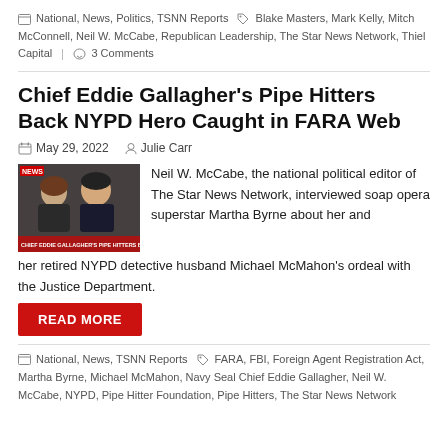National, News, Politics, TSNN Reports  |  Blake Masters, Mark Kelly, Mitch McConnell, Neil W. McCabe, Republican Leadership, The Star News Network, Thiel Capital  |  3 Comments
Chief Eddie Gallagher's Pipe Hitters Back NYPD Hero Caught in FARA Web
May 29, 2022   Julie Carr
[Figure (photo): Two people (a woman and a man in a suit) photographed at what appears to be a media event, with a red news ticker overlay at the bottom.]
Neil W. McCabe, the national political editor of The Star News Network, interviewed soap opera superstar Martha Byrne about her and her retired NYPD detective husband Michael McMahon's ordeal with the Justice Department.
READ MORE
National, News, TSNN Reports  |  FARA, FBI, Foreign Agent Registration Act, Martha Byrne, Michael McMahon, Navy Seal Chief Eddie Gallagher, Neil W. McCabe, NYPD, Pipe Hitter Foundation, Pipe Hitters, The Star News Network